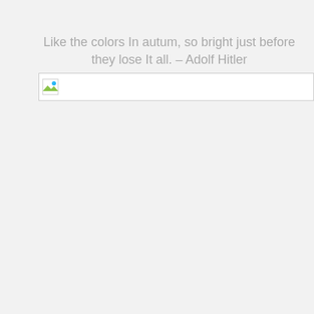Like the colors In autum, so bright just before they lose It all.  – Adolf Hitler
[Figure (illustration): A broken image placeholder icon — small white rectangle with mountain/landscape icon in green and blue, bordered by a thin gray line extending across the page width.]